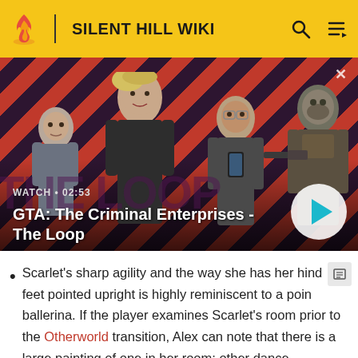SILENT HILL WIKI
[Figure (screenshot): GTA: The Criminal Enterprises - The Loop video thumbnail with four characters on a red diagonal striped background. Shows WATCH • 02:53 label and a play button.]
GTA: The Criminal Enterprises - The Loop
Scarlet's sharp agility and the way she has her hind feet pointed upright is highly reminiscent to a poin ballerina. If the player examines Scarlet's room prior to the Otherworld transition, Alex can note that there is a large painting of one in her room; other dance-